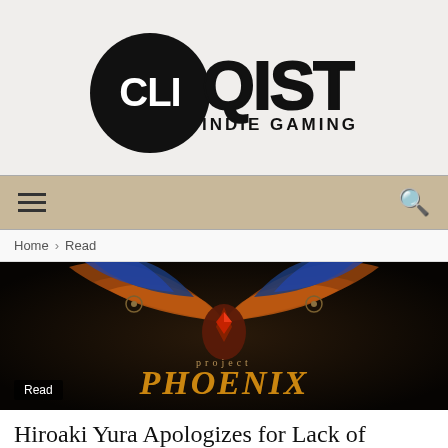[Figure (logo): Cliqist Indie Gaming logo — black circle with 'CLI' in white on the circle, 'QIST' in black outline to the right, and 'INDIE GAMING' subtitle below]
Navigation bar with hamburger menu icon and search icon, tan/beige background
Home › Read
[Figure (photo): Project Phoenix game logo on dark background — stylized phoenix bird with spread wings in orange, red, blue colors, with 'project PHOENIX' text in fantasy/ornate lettering]
Read
Hiroaki Yura Apologizes for Lack of